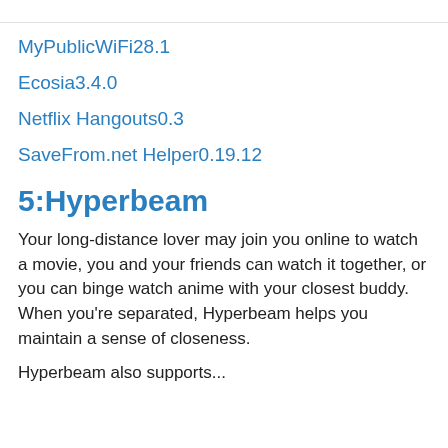MyPublicWiFi28.1
Ecosia3.4.0
Netflix Hangouts0.3
SaveFrom.net Helper0.19.12
5:Hyperbeam
Your long-distance lover may join you online to watch a movie, you and your friends can watch it together, or you can binge watch anime with your closest buddy. When you're separated, Hyperbeam helps you maintain a sense of closeness.
Hyperbeam also supports...